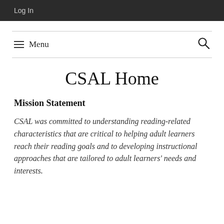Log In
CSAL Home
Mission Statement
CSAL was committed to understanding reading-related characteristics that are critical to helping adult learners reach their reading goals and to developing instructional approaches that are tailored to adult learners' needs and interests.